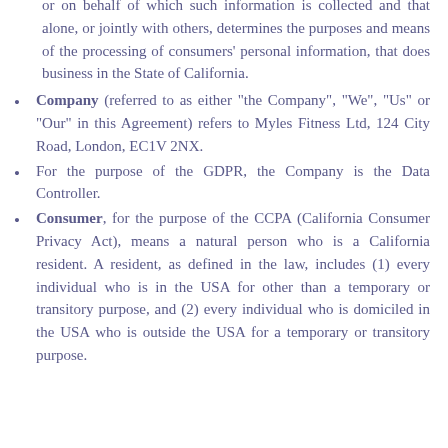or on behalf of which such information is collected and that alone, or jointly with others, determines the purposes and means of the processing of consumers' personal information, that does business in the State of California.
Company (referred to as either "the Company", "We", "Us" or "Our" in this Agreement) refers to Myles Fitness Ltd, 124 City Road, London, EC1V 2NX.
For the purpose of the GDPR, the Company is the Data Controller.
Consumer, for the purpose of the CCPA (California Consumer Privacy Act), means a natural person who is a California resident. A resident, as defined in the law, includes (1) every individual who is in the USA for other than a temporary or transitory purpose, and (2) every individual who is domiciled in the USA who is outside the USA for a temporary or transitory purpose.